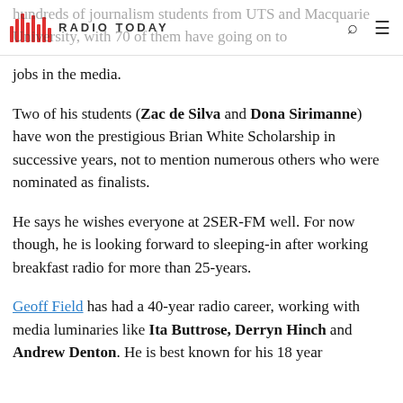RADIO TODAY
hundreds of journalism students from UTS and Macquarie University, with 70 of them have going on to jobs in the media.
Two of his students (Zac de Silva and Dona Sirimanne) have won the prestigious Brian White Scholarship in successive years, not to mention numerous others who were nominated as finalists.
He says he wishes everyone at 2SER-FM well. For now though, he is looking forward to sleeping-in after working breakfast radio for more than 25-years.
Geoff Field has had a 40-year radio career, working with media luminaries like Ita Buttrose, Derryn Hinch and Andrew Denton. He is best known for his 18 year